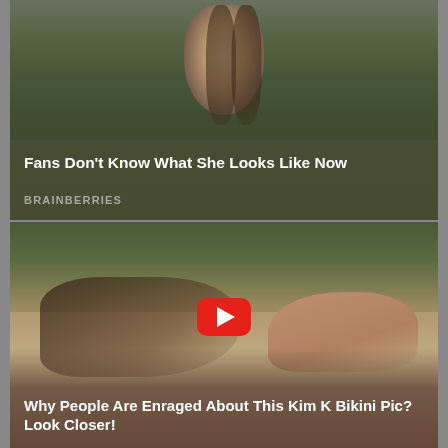[Figure (photo): Top card: photo of a young girl with long brown hair against a green/forest background, with dark olive overlay. Title: Fans Don't Know What She Looks Like Now. Source: BRAINBERRIES]
Fans Don't Know What She Looks Like Now
BRAINBERRIES
[Figure (photo): Bottom card: photo of a woman in a black bikini lying on a beach with sunglasses, rocky coastline background, YouTube play button overlay. Title: Why People Are Enraged About This Kim K Bikini Pic? Look Closer!]
Why People Are Enraged About This Kim K Bikini Pic? Look Closer!